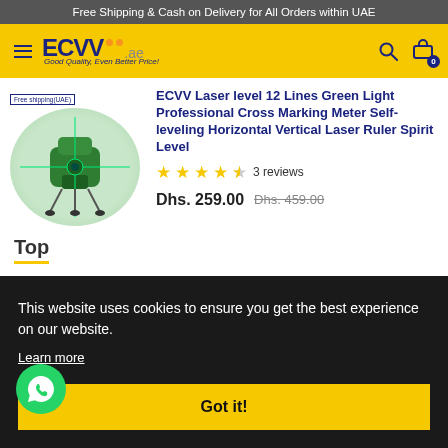Free Shipping & Cash on Delivery for All Orders within UAE
[Figure (logo): ECVV.ae logo with hamburger menu, search and cart icons on yellow background]
[Figure (photo): ECVV Laser level product image - green laser device on green circular background with Free shipping(UAE) label]
ECVV Laser level 12 Lines Green Light Professional Cross Marking Meter Self-leveling Horizontal Vertical Laser Ruler Spirit Level
★★★★☆ 3 reviews
Dhs. 259.00  Dhs. 459.00
Top
This website uses cookies to ensure you get the best experience on our website.
Learn more
Got it!